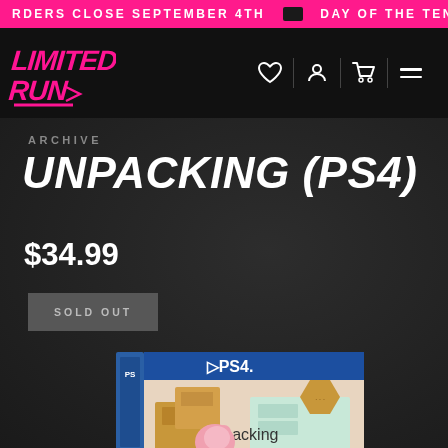RDERS CLOSE SEPTEMBER 4TH  DAY OF THE TENTACLE R
[Figure (logo): Limited Run Games logo in pink/magenta stylized text on black background]
ARCHIVE
UNPACKING (PS4)
$34.99
SOLD OUT
[Figure (photo): Unpacking PS4 physical game case with PS4 logo and colorful illustrated cover art showing a pink bear character unpacking boxes in a room with a dresser]